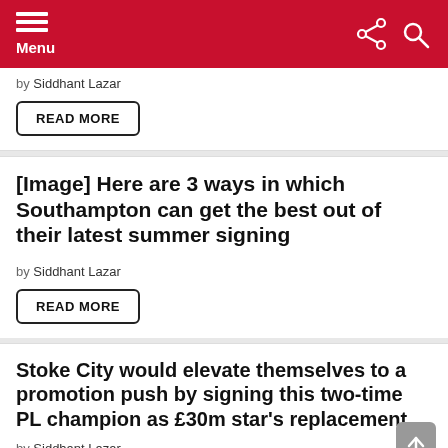Menu
by Siddhant Lazar
READ MORE
[Image] Here are 3 ways in which Southampton can get the best out of their latest summer signing
by Siddhant Lazar
READ MORE
Stoke City would elevate themselves to a promotion push by signing this two-time PL champion as £30m star's replacement
by Siddhant Lazar